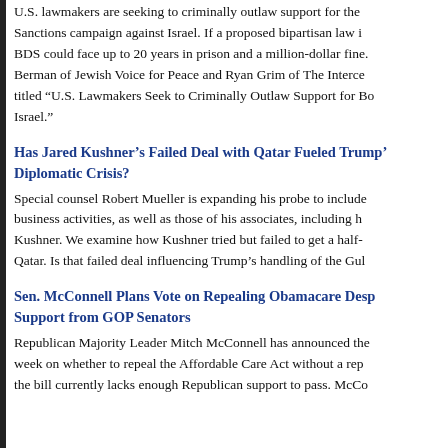U.S. lawmakers are seeking to criminally outlaw support for the Boycott, Divestment, Sanctions campaign against Israel. If a proposed bipartisan law is passed, supporters of BDS could face up to 20 years in prison and a million-dollar fine. We speak with Rebecca Berman of Jewish Voice for Peace and Ryan Grim of The Intercept about an article titled "U.S. Lawmakers Seek to Criminally Outlaw Support for Boycotts Against Israel."
Has Jared Kushner's Failed Deal with Qatar Fueled Trump's Diplomatic Crisis?
Special counsel Robert Mueller is expanding his probe to include Trump's business activities, as well as those of his associates, including his son-in-law Jared Kushner. We examine how Kushner tried but failed to get a half-billion-dollar deal with Qatar. Is that failed deal influencing Trump's handling of the Gulf crisis?
Sen. McConnell Plans Vote on Repealing Obamacare Despite Lack of Support from GOP Senators
Republican Majority Leader Mitch McConnell has announced the Senate will vote this week on whether to repeal the Affordable Care Act without a replacement, even though the bill currently lacks enough Republican support to pass. McCo...